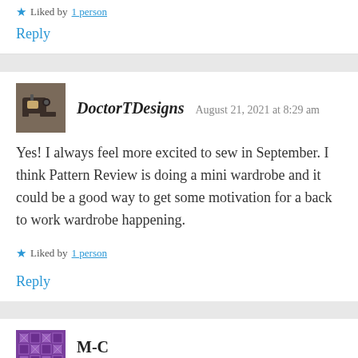Liked by 1 person
Reply
DoctorTDesigns  August 21, 2021 at 8:29 am
Yes! I always feel more excited to sew in September. I think Pattern Review is doing a mini wardrobe and it could be a good way to get some motivation for a back to work wardrobe happening.
Liked by 1 person
Reply
M-C  August 22, 2021 at 8:42 am